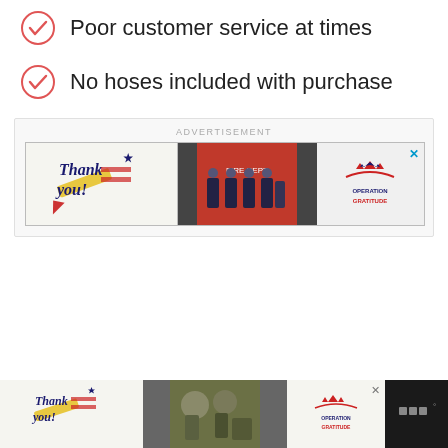Poor customer service at times
No hoses included with purchase
[Figure (screenshot): Advertisement banner labeled 'ADVERTISEMENT' with an Operation Gratitude ad showing a 'Thank you!' message with a pencil graphic and a flag design, a photo of fire department personnel, and the Operation Gratitude logo on white background]
[Figure (screenshot): Sticky bottom advertisement bar on dark background showing another Operation Gratitude 'Thank you!' banner ad with military personnel photo, and a close button and website logo]